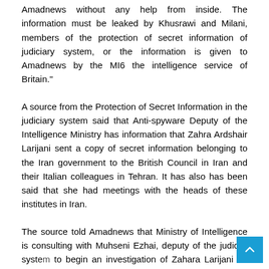Amadnews without any help from inside. The information must be leaked by Khusrawi and Milani, members of the protection of secret information of judiciary system, or the information is given to Amadnews by the MI6 the intelligence service of Britain."
A source from the Protection of Secret Information in the judiciary system said that Anti-spyware Deputy of the Intelligence Ministry has information that Zahra Ardshair Larijani sent a copy of secret information belonging to the Iran government to the British Council in Iran and their Italian colleagues in Tehran. It has also has been said that she had meetings with the heads of these institutes in Iran.
The source told Amadnews that Ministry of Intelligence is consulting with Muhseni Ezhai, deputy of the judicial sys... to begin an investigation of Zahara Larijani on the charge...